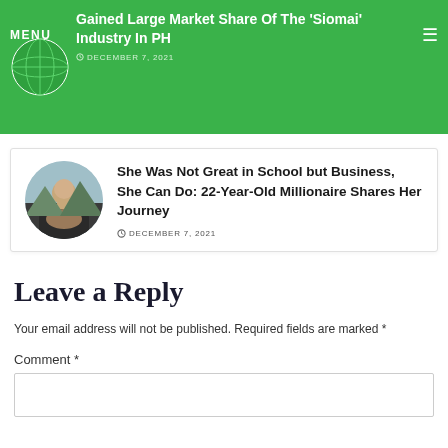MENU | How This BH Founder Momma Mundo Gained Large Market Share Of The 'Siomai' Industry In PH | DECEMBER 7, 2021
She Was Not Great in School but Business, She Can Do: 22-Year-Old Millionaire Shares Her Journey
DECEMBER 7, 2021
Leave a Reply
Your email address will not be published. Required fields are marked *
Comment *